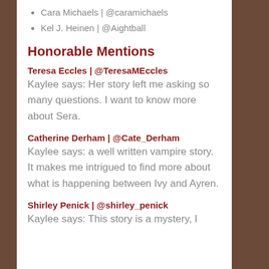Cara Michaels | @caramichaels
Kel J. Heinen | @Aightball
Honorable Mentions
Teresa Eccles | @TeresaMEccles
Kaylee says: Her story left me asking so many questions. I want to know more about Sera.
Catherine Derham | @Cate_Derham
Kaylee says: a well written vampire story. It makes me intrigued to find more about what is happening between Ivy and Ayren.
Shirley Penick | @shirley_penick
Kaylee says: This story is a mystery, I